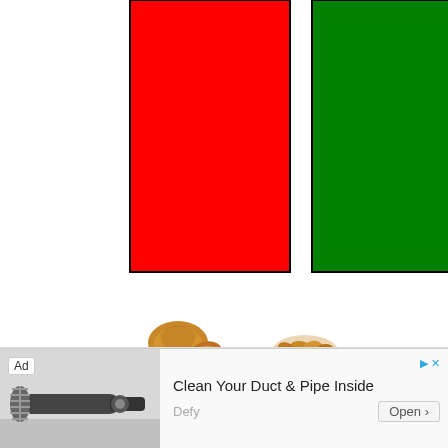[Figure (illustration): Two colored rectangles side by side: a red rectangle on the left and a green rectangle on the right, both outlined with thin black borders.]
[Figure (photo): Two small images of nuts side by side: a walnut/almond on the left and a pile of smaller nuts/seeds on the right.]
[Figure (screenshot): Advertisement banner at the bottom: shows an image of a pipe cleaning device on the left with 'Ad' label, text 'Clean Your Duct & Pipe Inside' and 'Defy' brand, with 'Open >' button and close/skip controls.]